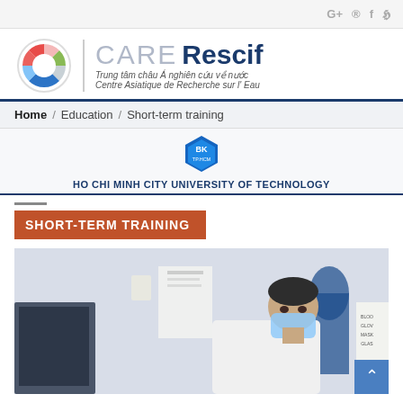G+ ® f ᵡ
[Figure (logo): CARE Rescif logo with circular multicolored emblem and text: Trung tâm châu Á nghiên cứu về nước / Centre Asiatique de Recherche sur l'Eau]
Home / Education / Short-term training
[Figure (logo): BK TP.HCM hexagonal blue university logo]
HO CHI MINH CITY UNIVERSITY OF TECHNOLOGY
SHORT-TERM TRAINING
[Figure (photo): A person wearing a white lab coat and blue face mask working at a computer in a laboratory setting]